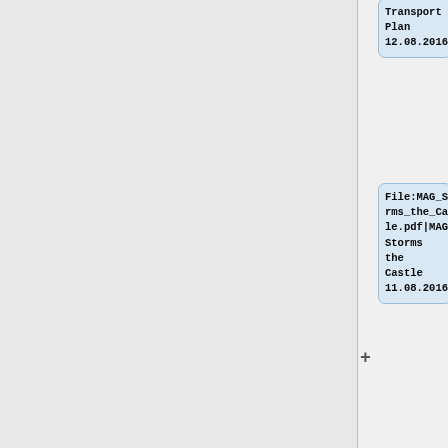Transport Plan 12.08.2016
File:MAG_Storms_the_Castle.pdf|MAG Storms the Castle 11.08.2016
File:MAG_joins_HE.pdf|MAG joins Highways England 02.08.2016
File:New_Vice_Chair.pdf|New Vice Chair